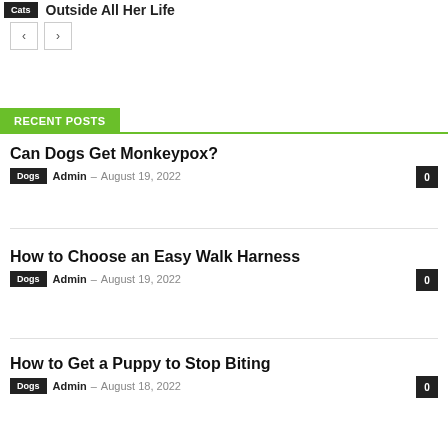Cats | Outside All Her Life
[Figure (other): Navigation pagination buttons with left and right arrows]
RECENT POSTS
Can Dogs Get Monkeypox?
Dogs  Admin – August 19, 2022  0
How to Choose an Easy Walk Harness
Dogs  Admin – August 19, 2022  0
How to Get a Puppy to Stop Biting
Dogs  Admin – August 18, 2022  0